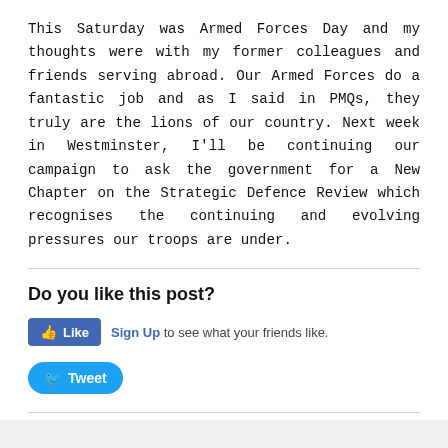This Saturday was Armed Forces Day and my thoughts were with my former colleagues and friends serving abroad. Our Armed Forces do a fantastic job and as I said in PMQs, they truly are the lions of our country. Next week in Westminster, I'll be continuing our campaign to ask the government for a New Chapter on the Strategic Defence Review which recognises the continuing and evolving pressures our troops are under.
Do you like this post?
Like  Sign Up to see what your friends like.
Tweet